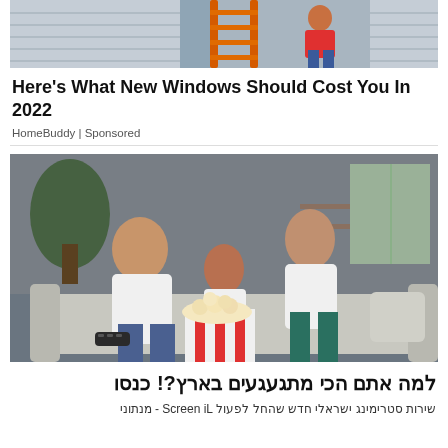[Figure (photo): Photo of a house exterior with an orange ladder leaning against the siding, a worker visible]
Here's What New Windows Should Cost You In 2022
HomeBuddy | Sponsored
[Figure (photo): Family of three (man, young girl, woman) sitting on a couch laughing and watching TV, holding a large red and white striped popcorn bucket]
למה אתם הכי מתגעגעים בארץ?! כנסו
שירות סטרימינג ישראלי חדש שהחל לפעול Screen iL - מנתוני